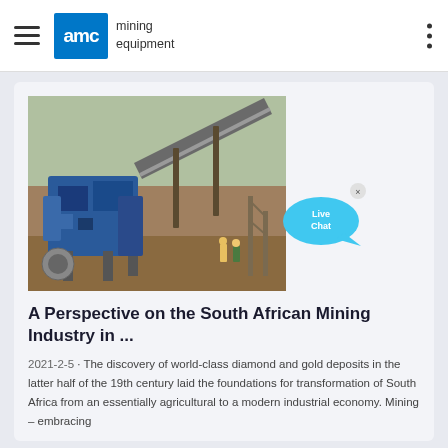AMC mining equipment
[Figure (photo): Mining equipment photo showing a large blue ore processing machine with a conveyor belt at an outdoor mining site, with workers visible in the background.]
A Perspective on the South African Mining Industry in ...
2021-2-5 · The discovery of world-class diamond and gold deposits in the latter half of the 19th century laid the foundations for transformation of South Africa from an essentially agricultural to a modern industrial economy. Mining – embracing